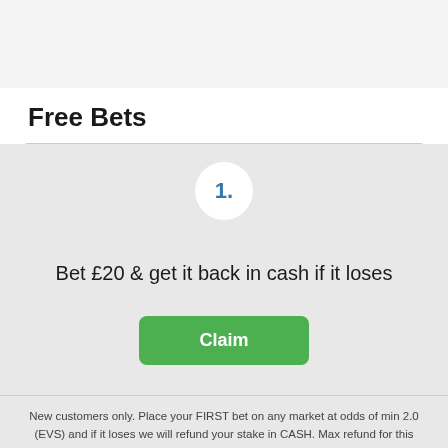Free Bets
[Figure (infographic): Circle badge with number 1. in blue text on white background]
Bet £20 & get it back in cash if it loses
Claim
New customers only. Place your FIRST bet on any market at odds of min 2.0 (EVS) and if it loses we will refund your stake in CASH. Max refund for this offer is £20. Only deposits made using cards will qualify for this promotion. T&Cs apply.